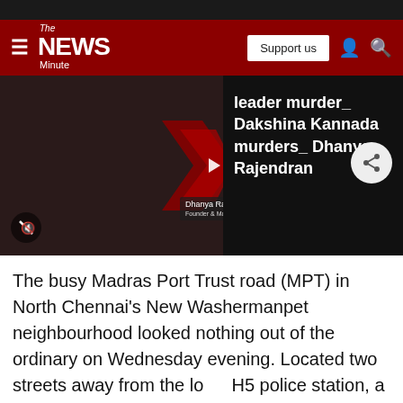[Figure (screenshot): The News Minute website navigation bar with hamburger menu, logo, Support us button, user icon, and search icon on a dark red background]
[Figure (screenshot): Video thumbnail showing a dark scene with red chevron/play graphics, Dhanya Rajendran name overlay, mute icon, and overlay text reading 'leader murder_ Dakshina Kannada murders_ Dhanya Rajendran' on right side panel]
The busy Madras Port Trust road (MPT) in North Chennai's New Washermanpet neighbourhood looked nothing out of the ordinary on Wednesday evening. Located two streets away from the local H5 police station, a shocking murder unfolded here just two days ago.